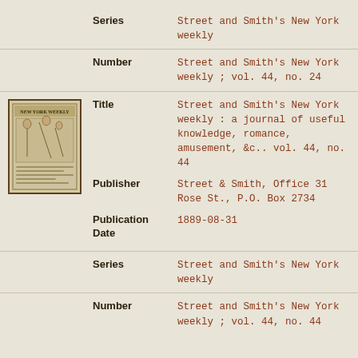| Field | Value |
| --- | --- |
| Series | Street and Smith's New York weekly |
| Number | Street and Smith's New York weekly ; vol. 44, no. 24 |
| Title | Street and Smith's New York weekly : a journal of useful knowledge, romance, amusement, &c.. vol. 44, no. 44 |
| Publisher | Street & Smith, Office 31 Rose St., P.O. Box 2734 |
| Publication Date | 1889-08-31 |
| Series | Street and Smith's New York weekly |
| Number | Street and Smith's New York weekly ; vol. 44, no. 44 |
[Figure (illustration): Small thumbnail image of a newspaper front page titled 'New York Weekly']